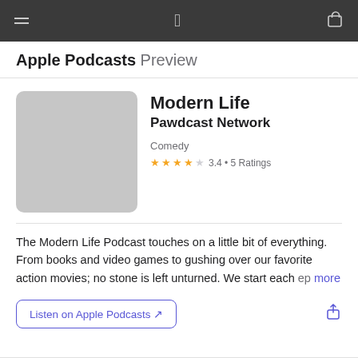Apple Podcasts Preview
Modern Life
Pawdcast Network
Comedy
3.4 • 5 Ratings
[Figure (illustration): Podcast artwork placeholder — light grey rounded square]
The Modern Life Podcast touches on a little bit of everything. From books and video games to gushing over our favorite action movies; no stone is left unturned. We start each ep more
Listen on Apple Podcasts ↗